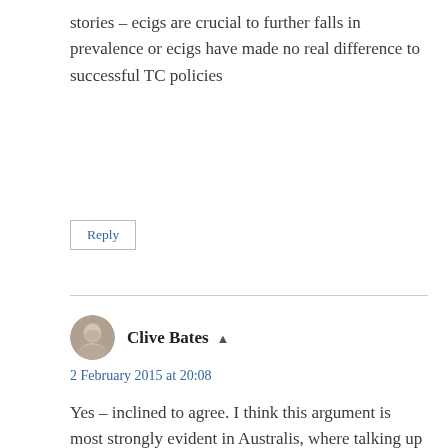stories – ecigs are crucial to further falls in prevalence or ecigs have made no real difference to successful TC policies
Reply
Clive Bates
2 February 2015 at 20:08
Yes – inclined to agree. I think this argument is most strongly evident in Australis, where talking up about tobacco control success is combined with dismissal of vapour as justifiably illegal and irrelevant, even though surveys show it has a significant impact even though technically